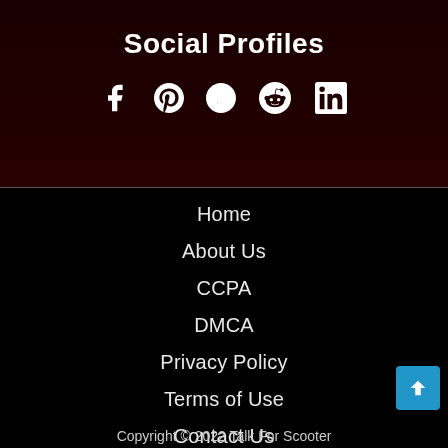Social Profiles
[Figure (infographic): Social media icons: Facebook, Pinterest, Quora, Reddit, LinkedIn]
Home
About Us
CCPA
DMCA
Privacy Policy
Terms of Use
Contact Us
Copyright © 2022 Talk For Scooter